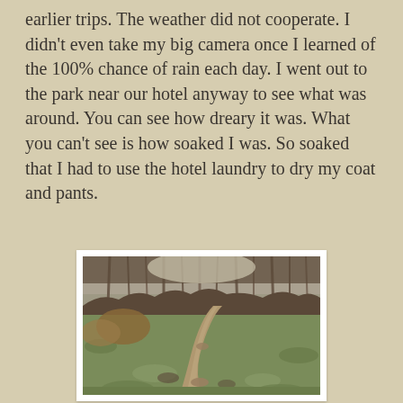earlier trips. The weather did not cooperate. I didn't even take my big camera once I learned of the 100% chance of rain each day. I went out to the park near our hotel anyway to see what was around. You can see how dreary it was. What you can't see is how soaked I was. So soaked that I had to use the hotel laundry to dry my coat and pants.
[Figure (photo): A muddy dirt path winding through green grass and bare winter trees in a park on a grey overcast day.]